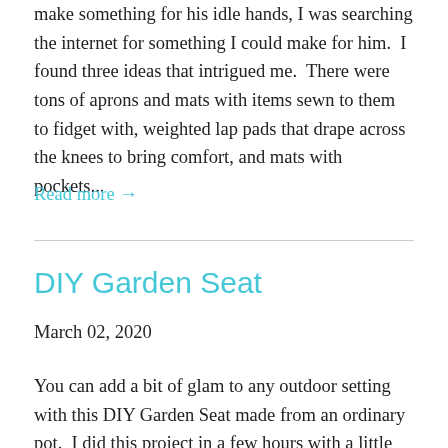make something for his idle hands, I was searching the internet for something I could make for him.  I found three ideas that intrigued me.  There were tons of aprons and mats with items sewn to them to fidget with, weighted lap pads that drape across the knees to bring comfort, and mats with pockets...
Read more →
DIY Garden Seat
March 02, 2020
You can add a bit of glam to any outdoor setting with this DIY Garden Seat made from an ordinary pot.  I did this project in a few hours with a little bit of sewing and a little